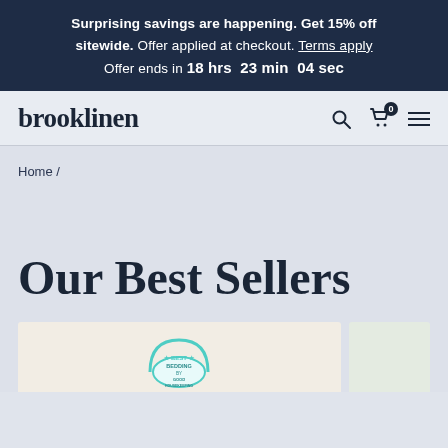Surprising savings are happening. Get 15% off sitewide. Offer applied at checkout. Terms apply Offer ends in 18 hrs 23 min 04 sec
[Figure (logo): brooklinen logo with search, cart (0), and hamburger menu icons]
Home /
Our Best Sellers
[Figure (photo): Product card showing Good Housekeeping Best Bedding badge]